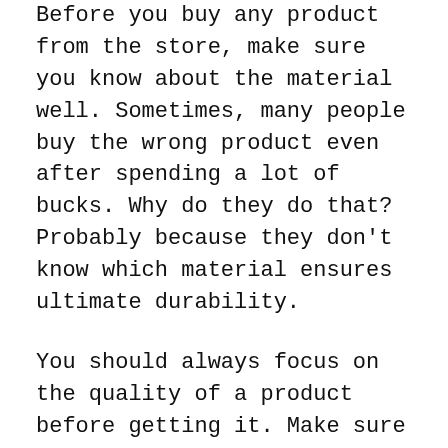Before you buy any product from the store, make sure you know about the material well. Sometimes, many people buy the wrong product even after spending a lot of bucks. Why do they do that? Probably because they don't know which material ensures ultimate durability.
You should always focus on the quality of a product before getting it. Make sure it's sturdy and built to last. No matter whether it's made of wood, metal, plastic, aluminum or steel.
Features of 8 Person Tents For Camping
Before deciding on a specific product, be certain that it has all the necessary features